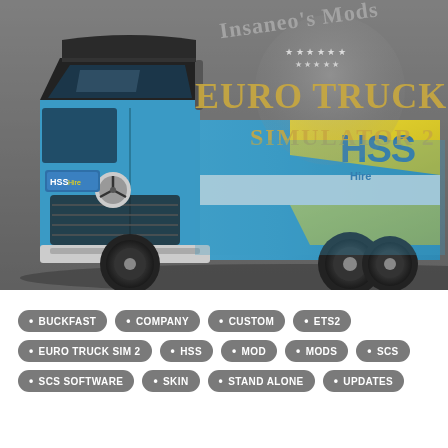[Figure (screenshot): Euro Truck Simulator 2 screenshot showing a blue Mercedes Actros truck with HSS Hire company livery/skin. The truck is rendered in 3D game graphics against a grey background. The overlay text reads 'Insaneo's Mods' and 'EURO TRUCK SIMULATOR 2'.]
BUCKFAST
COMPANY
CUSTOM
ETS2
EURO TRUCK SIM 2
HSS
MOD
MODS
SCS
SCS SOFTWARE
SKIN
STAND ALONE
UPDATES